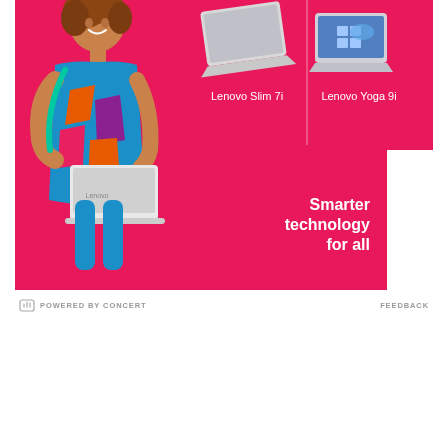[Figure (infographic): Lenovo advertisement banner with hot pink background. A smiling woman with curly hair wearing a colorful dress holds a white Lenovo laptop on the left. Center shows a Lenovo Slim 7i laptop (open, angled) with label below. Right shows a Lenovo Yoga 9i laptop with Windows 11 logo on screen with label below. A vertical divider separates the two laptops. Bottom right has a white badge with 'Lenovo' in pink rotated text. Tagline reads 'Smarter technology for all' in bold white text.]
POWERED BY CONCERT    FEEDBACK